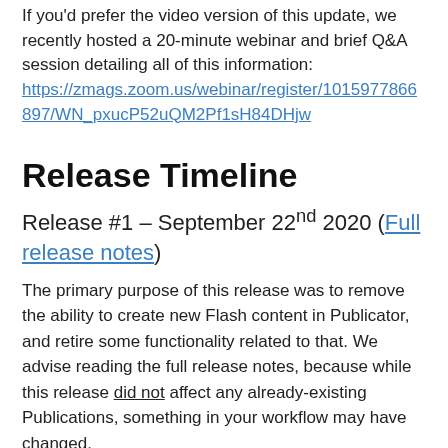If you'd prefer the video version of this update, we recently hosted a 20-minute webinar and brief Q&A session detailing all of this information: https://zmags.zoom.us/webinar/register/1015977866897/WN_pxucP52uQM2Pf1sH84DHjw
Release Timeline
Release #1 – September 22nd 2020 (Full release notes)
The primary purpose of this release was to remove the ability to create new Flash content in Publicator, and retire some functionality related to that. We advise reading the full release notes, because while this release did not affect any already-existing Publications, something in your workflow may have changed.
Release #2 – Scheduled for Tuesday, October 28th 2020 (Full release notes)